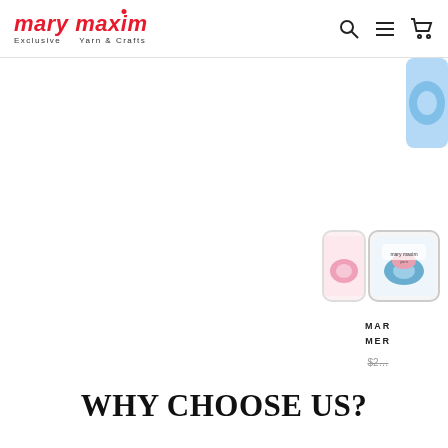[Figure (logo): Mary Maxim logo — red bold italic text with 'Exclusive Yarn & Crafts' tagline below]
[Figure (screenshot): Navigation icons: search (magnifying glass), hamburger menu, shopping cart]
[Figure (photo): Partial product image of yarn ball/skein at top-right, partially cropped]
[Figure (photo): Product thumbnail image 1: yarn skein with Mary Maxim label, blue/pink colors]
[Figure (photo): Product thumbnail image 2: yarn skein, pink/partially visible]
MAR
MER
$2...
WHY CHOOSE US?